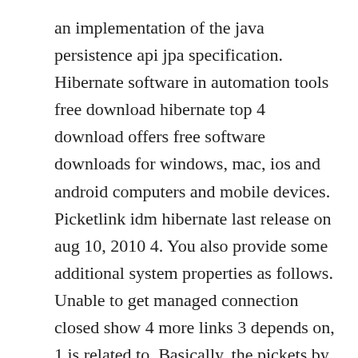an implementation of the java persistence api jpa specification. Hibernate software in automation tools free download hibernate top 4 download offers free software downloads for windows, mac, ios and android computers and mobile devices. Picketlink idm hibernate last release on aug 10, 2010 4. You also provide some additional system properties as follows. Unable to get managed connection closed show 4 more links 3 depends on, 1 is related to. Basically, the pickets by themselves do not offer any security.